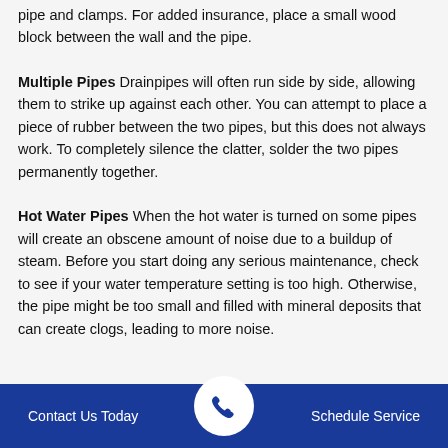pipe and clamps. For added insurance, place a small wood block between the wall and the pipe.
Multiple Pipes Drainpipes will often run side by side, allowing them to strike up against each other. You can attempt to place a piece of rubber between the two pipes, but this does not always work. To completely silence the clatter, solder the two pipes permanently together.
Hot Water Pipes When the hot water is turned on some pipes will create an obscene amount of noise due to a buildup of steam. Before you start doing any serious maintenance, check to see if your water temperature setting is too high. Otherwise, the pipe might be too small and filled with mineral deposits that can create clogs, leading to more noise.
Contact Us Today | Schedule Service